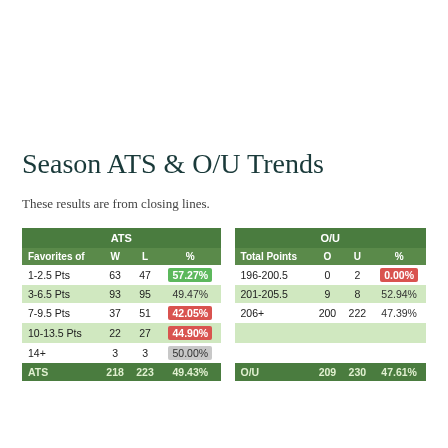Season ATS & O/U Trends
These results are from closing lines.
| Favorites of | W | L | % |  | Total Points | O | U | % |
| --- | --- | --- | --- | --- | --- | --- | --- | --- |
| 1-2.5 Pts | 63 | 47 | 57.27% |  | 196-200.5 | 0 | 2 | 0.00% |
| 3-6.5 Pts | 93 | 95 | 49.47% |  | 201-205.5 | 9 | 8 | 52.94% |
| 7-9.5 Pts | 37 | 51 | 42.05% |  | 206+ | 200 | 222 | 47.39% |
| 10-13.5 Pts | 22 | 27 | 44.90% |  |  |  |  |  |
| 14+ | 3 | 3 | 50.00% |  |  |  |  |  |
| ATS | 218 | 223 | 49.43% |  | O/U | 209 | 230 | 47.61% |